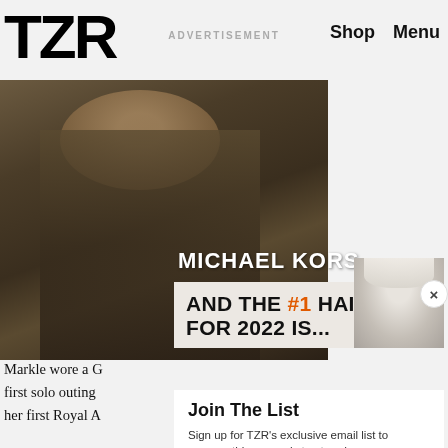TZR  ADVERTISEMENT  Shop  Menu
[Figure (photo): Fashion photo of a woman wearing sunglasses and a fur coat, sitting in a vehicle with a city skyline in the background. Michael Kors advertisement.]
[Figure (photo): Close-up portrait of a blonde woman used in a haircut advertisement popup.]
MICHAEL KORS AND THE #1 HAIRCUT FOR 2022 IS...
Join The List
Sign up for TZR's exclusive email list to uncover this season's top trends
Markle wore a G first solo outing her first Royal A